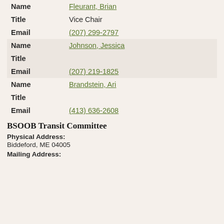| Name | Fleurant, Brian |
| Title | Vice Chair |
| Email | (207) 299-2797 |
| Name | Johnson, Jessica |
| Title |  |
| Email | (207) 219-1825 |
| Name | Brandstein, Ari |
| Title |  |
| Email | (413) 636-2608 |
BSOOB Transit Committee
Physical Address:
Biddeford, ME 04005
Mailing Address: